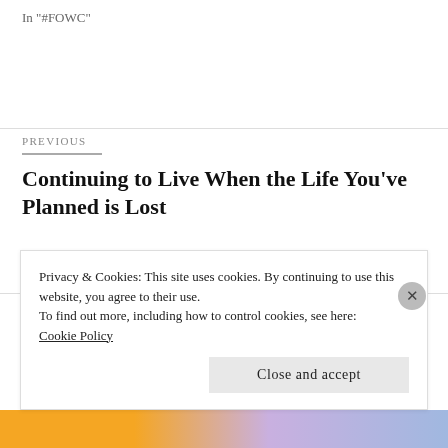In "#FOWC"
PREVIOUS
Continuing to Live When the Life You've Planned is Lost
NEXT
Breaking the Silence About Mental
Privacy & Cookies: This site uses cookies. By continuing to use this website, you agree to their use. To find out more, including how to control cookies, see here: Cookie Policy
Close and accept